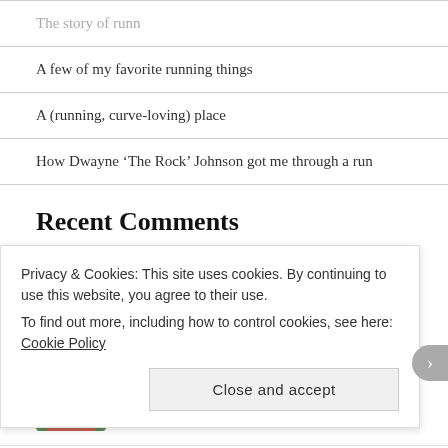The story of runn
A few of my favorite running things
A (running, curve-loving) place
How Dwayne ‘The Rock’ Johnson got me through a run
Recent Comments
saraandhersoles on Recap: Disney Princess Half Ma...
Amy Zeller on Recap: Disney Princess Half Ma...
Privacy & Cookies: This site uses cookies. By continuing to use this website, you agree to their use.
To find out more, including how to control cookies, see here:
Cookie Policy
Close and accept